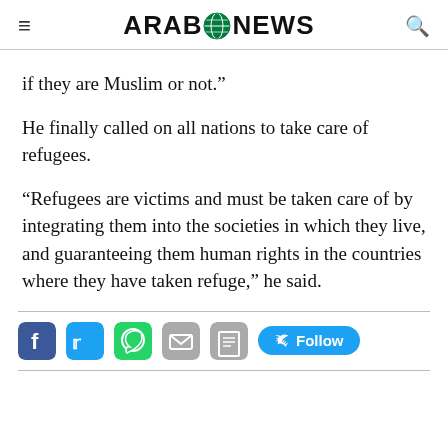Arab News
if they are Muslim or not.”
He finally called on all nations to take care of refugees.
“Refugees are victims and must be taken care of by integrating them into the societies in which they live, and guaranteeing them human rights in the countries where they have taken refuge,” he said.